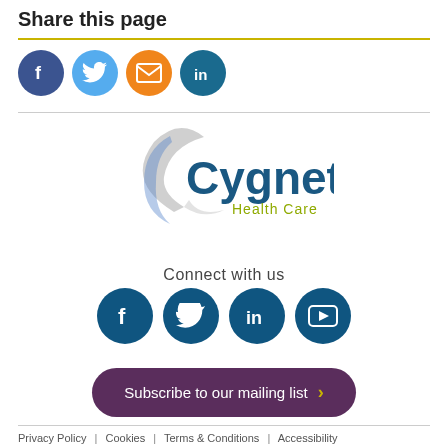Share this page
[Figure (infographic): Row of four social share icon circles: Facebook (dark blue), Twitter (light blue), Email (orange), LinkedIn (dark teal)]
[Figure (logo): Cygnet Health Care logo with grey swoosh and blue/olive text]
Connect with us
[Figure (infographic): Row of four social media icon circles: Facebook, Twitter, LinkedIn, YouTube — all dark blue]
Subscribe to our mailing list
Privacy Policy | Cookies | Terms & Conditions | Accessibility